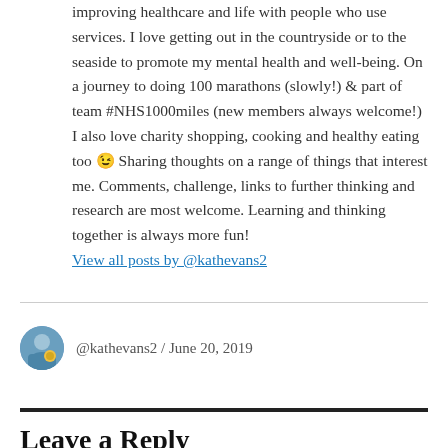improving healthcare and life with people who use services. I love getting out in the countryside or to the seaside to promote my mental health and well-being. On a journey to doing 100 marathons (slowly!) & part of team #NHS1000miles (new members always welcome!) I also love charity shopping, cooking and healthy eating too 😉 Sharing thoughts on a range of things that interest me. Comments, challenge, links to further thinking and research are most welcome. Learning and thinking together is always more fun! View all posts by @kathevans2
@kathevans2 / June 20, 2019
Leave a Reply